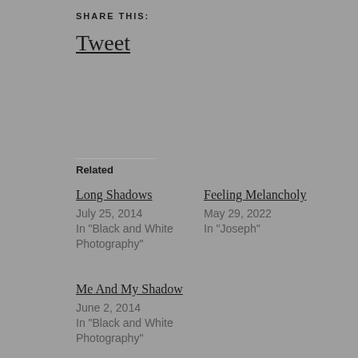SHARE THIS:
Tweet
Related
Long Shadows
July 25, 2014
In "Black and White Photography"
Feeling Melancholy
May 29, 2022
In "Joseph"
Me And My Shadow
June 2, 2014
In "Black and White Photography"